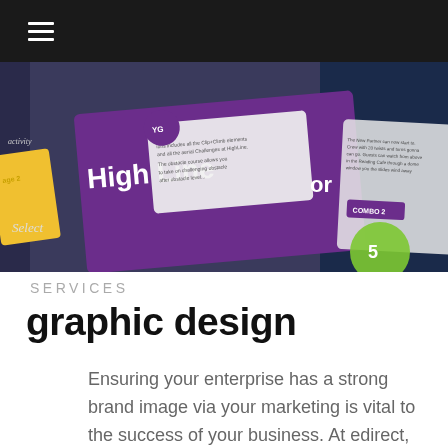[Figure (photo): Colorful marketing/game brochure cards fanned out, showing text 'High Line' and various graphic design elements with purple, yellow, and green colors]
SERVICES
graphic design
Ensuring your enterprise has a strong brand image via your marketing is vital to the success of your business. At edirect, we provide a unique graphic design service that will set your business